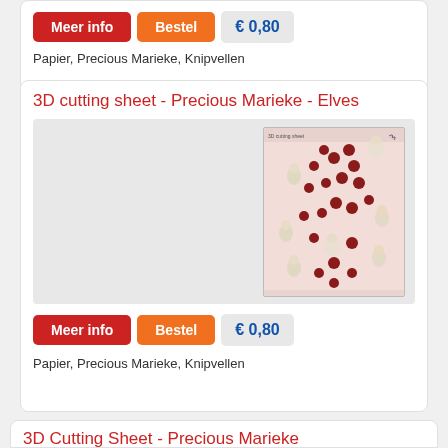Papier, Precious Marieke, Knipvellen
3D cutting sheet - Precious Marieke - Elves
[Figure (photo): Product photo of a 3D cutting sheet with elf/Christmas characters on a light pink background, arranged in a decorative pattern]
Papier, Precious Marieke, Knipvellen
3D Cutting Sheet - Precious Marieke